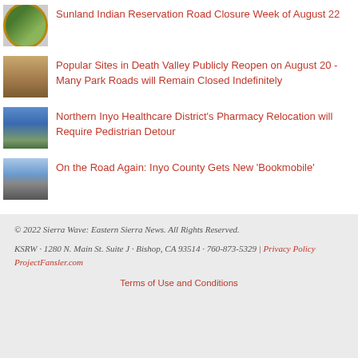Sunland Indian Reservation Road Closure Week of August 22
Popular Sites in Death Valley Publicly Reopen on August 20 - Many Park Roads will Remain Closed Indefinitely
Northern Inyo Healthcare District's Pharmacy Relocation will Require Pedistrian Detour
On the Road Again: Inyo County Gets New 'Bookmobile'
© 2022 Sierra Wave: Eastern Sierra News. All Rights Reserved. KSRW · 1280 N. Main St. Suite J · Bishop, CA 93514 · 760-873-5329 | Privacy Policy ProjectFansler.com Terms of Use and Conditions